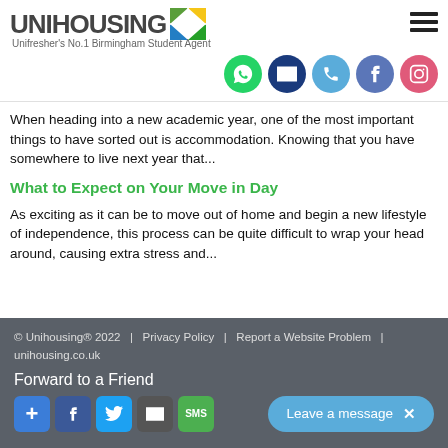UNIHOUSING — Unifresher's No.1 Birmingham Student Agent
[Figure (logo): Unihousing logo with colorful pinwheel/map icon and hamburger menu icon]
[Figure (infographic): Row of 5 social media icons: WhatsApp (green), Email (dark blue), Phone (light blue), Facebook (blue-gray), Instagram (pink)]
When heading into a new academic year, one of the most important things to have sorted out is accommodation. Knowing that you have somewhere to live next year that...
What to Expect on Your Move in Day
As exciting as it can be to move out of home and begin a new lifestyle of independence, this process can be quite difficult to wrap your head around, causing extra stress and...
© Unihousing® 2022   |   Privacy Policy   |   Report a Website Problem   |   unihousing.co.uk
Forward to a Friend
Leave a message  ×